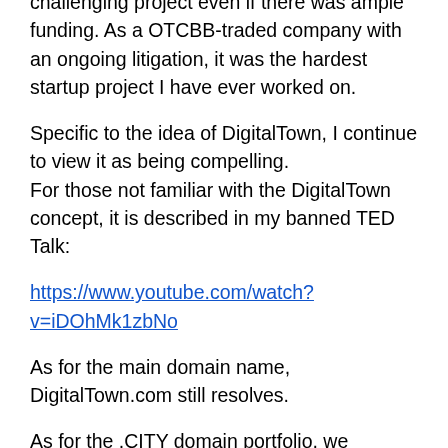challenging project even if there was ample funding. As a OTCBB-traded company with an ongoing litigation, it was the hardest startup project I have ever worked on.
Specific to the idea of DigitalTown, I continue to view it as being compelling.
For those not familiar with the DigitalTown concept, it is described in my banned TED Talk:
https://www.youtube.com/watch?v=iDOhMk1zbNo
As for the main domain name, DigitalTown.com still resolves.
As for the .CITY domain portfolio, we appealed to Donuts for accommodation on renewal fees. They were relatively unaccommodating which certainly did not help them or us, not just for